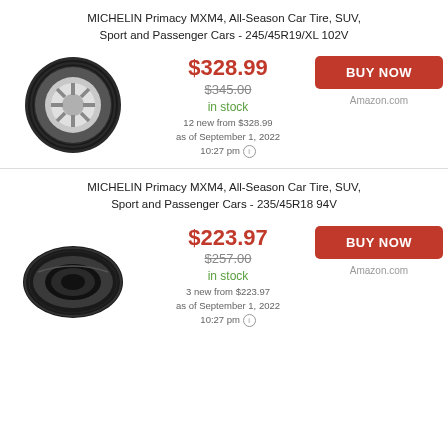MICHELIN Primacy MXM4, All-Season Car Tire, SUV, Sport and Passenger Cars - 245/45R19/XL 102V
[Figure (photo): Michelin tire photo - 245/45R19/XL 102V]
$328.99 current price, $345.00 original price, in stock, 12 new from $328.99, as of September 1, 2022 10:27 pm, BUY NOW on Amazon.com
MICHELIN Primacy MXM4, All-Season Car Tire, SUV, Sport and Passenger Cars - 235/45R18 94V
[Figure (photo): Michelin tire photo - 235/45R18 94V]
$223.97 current price, $257.00 original price, in stock, 3 new from $223.97, as of September 1, 2022 10:27 pm, BUY NOW on Amazon.com